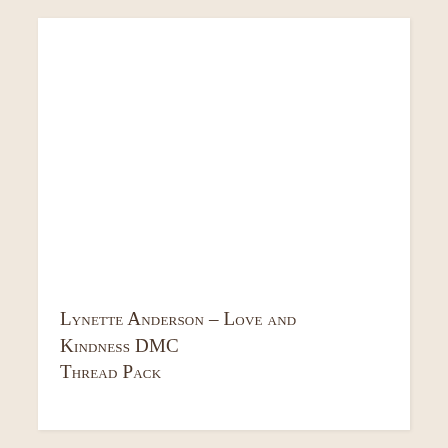Lynette Anderson – Love and Kindness DMC Thread Pack